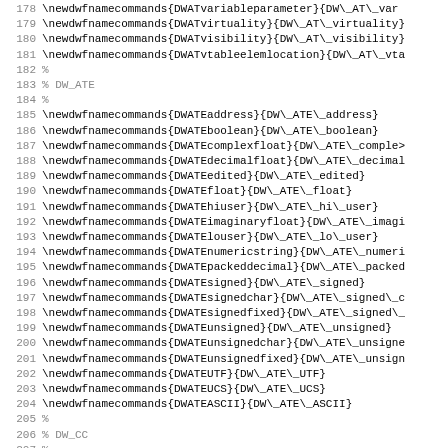Code listing lines 178-210 showing LaTeX newdwfnamecommands definitions for DW_AT and DW_CC DWARF debugging format macros
178 \newdwfnamecommands{DWATvariableparameter}{DW\_AT\_var...
179 \newdwfnamecommands{DWATvirtuality}{DW\_AT\_virtuality}
180 \newdwfnamecommands{DWATvisibility}{DW\_AT\_visibility}
181 \newdwfnamecommands{DWATvtableelemlocation}{DW\_AT\_vta
182 %
183 % DW_ATE
184 %
185 \newdwfnamecommands{DWATEaddress}{DW\_ATE\_address}
186 \newdwfnamecommands{DWATEboolean}{DW\_ATE\_boolean}
187 \newdwfnamecommands{DWATEcomplexfloat}{DW\_ATE\_complex
188 \newdwfnamecommands{DWATEdecimalfloat}{DW\_ATE\_decimal
189 \newdwfnamecommands{DWATEedited}{DW\_ATE\_edited}
190 \newdwfnamecommands{DWATEfloat}{DW\_ATE\_float}
191 \newdwfnamecommands{DWATEhiuser}{DW\_ATE\_hi\_user}
192 \newdwfnamecommands{DWATEimaginaryfloat}{DW\_ATE\_imagi
193 \newdwfnamecommands{DWATElouser}{DW\_ATE\_lo\_user}
194 \newdwfnamecommands{DWATEnumericstring}{DW\_ATE\_numeri
195 \newdwfnamecommands{DWATEpackeddecimal}{DW\_ATE\_packed
196 \newdwfnamecommands{DWATEsigned}{DW\_ATE\_signed}
197 \newdwfnamecommands{DWATEsignedchar}{DW\_ATE\_signed\_c
198 \newdwfnamecommands{DWATEsignedfixed}{DW\_ATE\_signed\_
199 \newdwfnamecommands{DWATEunsigned}{DW\_ATE\_unsigned}
200 \newdwfnamecommands{DWATEunsignedchar}{DW\_ATE\_unsigne
201 \newdwfnamecommands{DWATEunsignedfixed}{DW\_ATE\_unsign
202 \newdwfnamecommands{DWATEUTF}{DW\_ATE\_UTF}
203 \newdwfnamecommands{DWATEUCS}{DW\_ATE\_UCS}
204 \newdwfnamecommands{DWATEASCII}{DW\_ATE\_ASCII}
205 %
206 % DW_CC
207 %
208 \newdwfnamecommands{DWCChiuser}{DW\_CC\_hi\_user}
209 \newdwfnamecommands{DWCCloser}{DW\_CC\_lo\_user}
210 \newdwfnamecommands{DWCCnocall}{DW\_CC\_nocall}